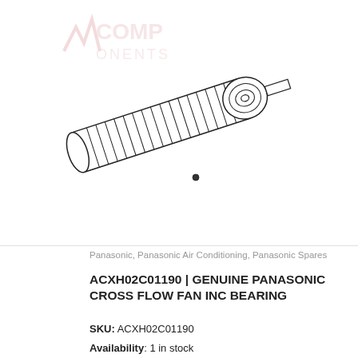[Figure (illustration): Engineering line drawing of a cross flow fan cylindrical roller component on white background with watermark logo]
Panasonic, Panasonic Air Conditioning, Panasonic Spares
ACXH02C01190 | GENUINE PANASONIC CROSS FLOW FAN INC BEARING
SKU: ACXH02C01190
Availability: 1 in stock
| Quantity | Price Per Unit |
| --- | --- |
| 1+ | 64.50 Excl GST |
[Figure (screenshot): Dark navigation bar with search box showing 'Search products' placeholder, and bottom navigation icons: user account, search, and cart with 0 badge]